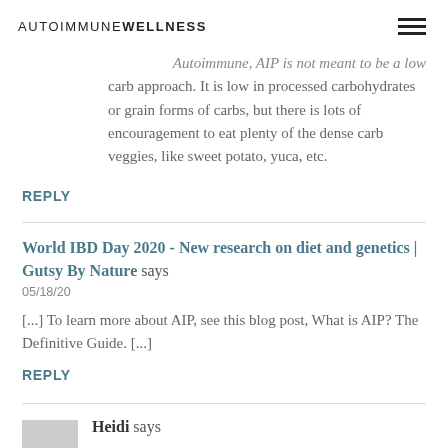AUTOIMMUNE WELLNESS
Autoimmune, AIP is not meant to be a low carb approach. It is low in processed carbohydrates or grain forms of carbs, but there is lots of encouragement to eat plenty of the dense carb veggies, like sweet potato, yuca, etc.
REPLY
World IBD Day 2020 - New research on diet and genetics | Gutsy By Nature says
05/18/20
[...] To learn more about AIP, see this blog post, What is AIP? The Definitive Guide. [...]
REPLY
Heidi says